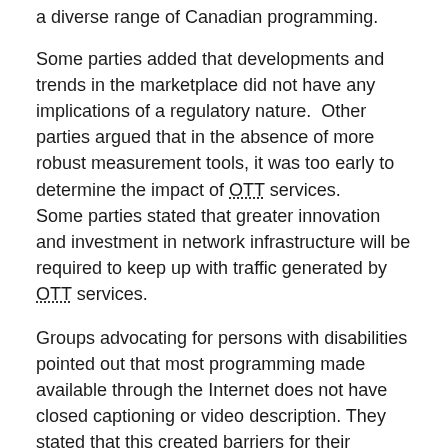a diverse range of Canadian programming.
Some parties added that developments and trends in the marketplace did not have any implications of a regulatory nature.  Other parties argued that in the absence of more robust measurement tools, it was too early to determine the impact of OTT services.
Some parties stated that greater innovation and investment in network infrastructure will be required to keep up with traffic generated by OTT services.
Groups advocating for persons with disabilities pointed out that most programming made available through the Internet does not have closed captioning or video description. They stated that this created barriers for their members. The Canadian Association of the Deaf indicated that the new media platforms offered an opportunity for Canadian broadcasters to provide fully accessible programming online and reach global audiences of people with disabilities.